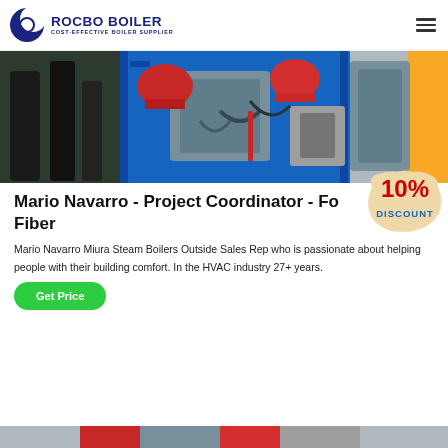[Figure (logo): Rocbo Boiler logo with crescent icon and text ROCBO BOILER / COST-EFFECTIVE BOILER SUPPLIER]
[Figure (photo): Industrial boiler machinery photo showing blue equipment with red helmets and various pipes and components]
[Figure (infographic): 10% DISCOUNT badge/sticker overlaid on top-right of content area]
Mario Navarro - Project Coordinator - Fo... Fiber
Mario Navarro Miura Steam Boilers Outside Sales Rep who is passionate about helping people with their building comfort. In the HVAC industry 27+ years.
[Figure (other): Get Price green button]
[Figure (photo): Partially visible bottom image strip of industrial boiler equipment]